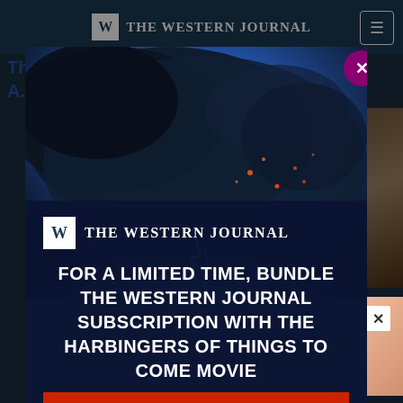THE WESTERN JOURNAL
T... ways Be A...
[Figure (screenshot): Modal popup overlay on The Western Journal website showing a dramatic storm/smoke sky image with The Western Journal logo and promotional text for a subscription bundle with the Harbingers of Things to Come Movie]
FOR A LIMITED TIME, BUNDLE THE WESTERN JOURNAL SUBSCRIPTION WITH THE HARBINGERS OF THINGS TO COME MOVIE